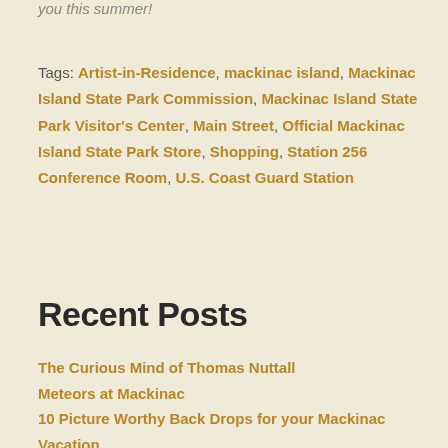you this summer!
Tags: Artist-in-Residence, mackinac island, Mackinac Island State Park Commission, Mackinac Island State Park Visitor's Center, Main Street, Official Mackinac Island State Park Store, Shopping, Station 256 Conference Room, U.S. Coast Guard Station
Recent Posts
The Curious Mind of Thomas Nuttall
Meteors at Mackinac
10 Picture Worthy Back Drops for your Mackinac Vacation
Mid-Season Archaeology Update